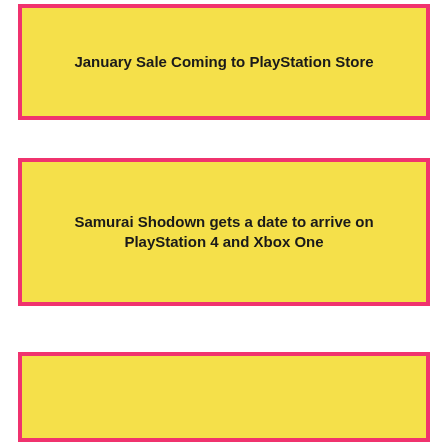January Sale Coming to PlayStation Store
Samurai Shodown gets a date to arrive on PlayStation 4 and Xbox One
[Figure (other): Partially visible yellow card with pink border at bottom of page]